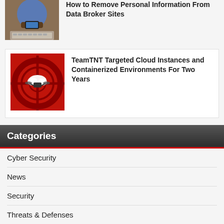[Figure (photo): Person using smartphone at a laptop, overhead view]
How to Remove Personal Information From Data Broker Sites
[Figure (illustration): Red target/crosshair graphic with cloud drone icon on dark red background]
TeamTNT Targeted Cloud Instances and Containerized Environments For Two Years
Categories
Cyber Security
News
Security
Threats & Defenses